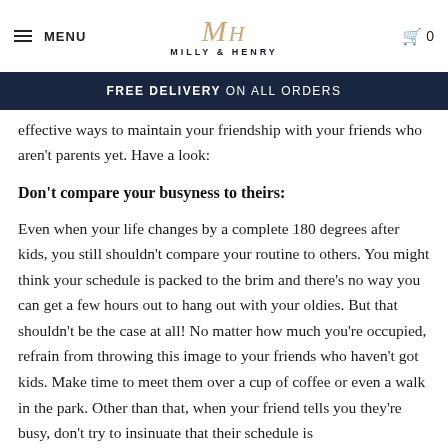MENU | MH MILLY & HENRY | 0
FREE DELIVERY ON ALL ORDERS
effective ways to maintain your friendship with your friends who aren't parents yet. Have a look:
Don't compare your busyness to theirs:
Even when your life changes by a complete 180 degrees after kids, you still shouldn't compare your routine to others. You might think your schedule is packed to the brim and there's no way you can get a few hours out to hang out with your oldies. But that shouldn't be the case at all! No matter how much you're occupied, refrain from throwing this image to your friends who haven't got kids. Make time to meet them over a cup of coffee or even a walk in the park. Other than that, when your friend tells you they're busy, don't try to insinuate that their schedule is